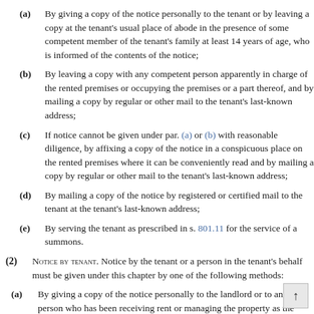(a) By giving a copy of the notice personally to the tenant or by leaving a copy at the tenant's usual place of abode in the presence of some competent member of the tenant's family at least 14 years of age, who is informed of the contents of the notice;
(b) By leaving a copy with any competent person apparently in charge of the rented premises or occupying the premises or a part thereof, and by mailing a copy by regular or other mail to the tenant's last-known address;
(c) If notice cannot be given under par. (a) or (b) with reasonable diligence, by affixing a copy of the notice in a conspicuous place on the rented premises where it can be conveniently read and by mailing a copy by regular or other mail to the tenant's last-known address;
(d) By mailing a copy of the notice by registered or certified mail to the tenant at the tenant's last-known address;
(e) By serving the tenant as prescribed in s. 801.11 for the service of a summons.
(2) Notice by tenant. Notice by the tenant or a person in the tenant's behalf must be given under this chapter by one of the following methods:
(a) By giving a copy of the notice personally to the landlord or to any person who has been receiving rent or managing the property as the landlord's agent, or by leaving a copy at landlord's usual place of abode in the presence of some